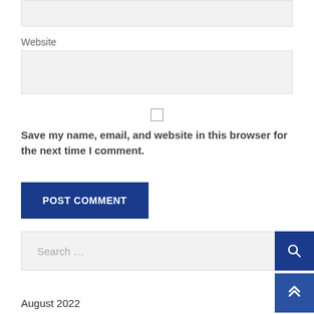[Figure (screenshot): Top portion of a text input field (grey background, partially visible at top of page)]
Website
[Figure (screenshot): Website text input field (grey background, empty)]
[Figure (screenshot): Unchecked checkbox centered on page]
Save my name, email, and website in this browser for the next time I comment.
[Figure (screenshot): POST COMMENT button (dark blue, uppercase text)]
[Figure (screenshot): Search bar with placeholder text 'Search …' and a dark blue search icon button on the right]
[Figure (screenshot): Scroll-to-top button (dark blue with upward chevron arrows)]
August 2022